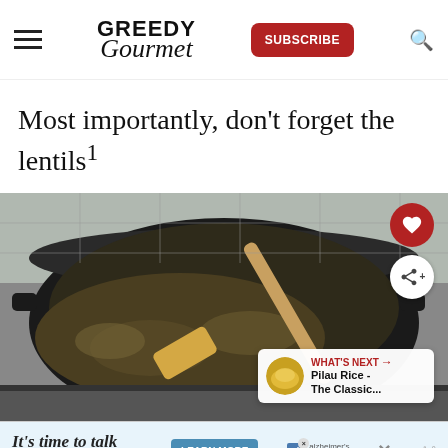Greedy Gourmet — SUBSCRIBE
Most importantly, don't forget the lentils1
[Figure (photo): A black cast iron pot on a stove with cooked lentils being stirred with a wooden spatula]
WHAT'S NEXT → Pilau Rice - The Classic...
It's time to talk about Alzheimer's. LEARN MORE